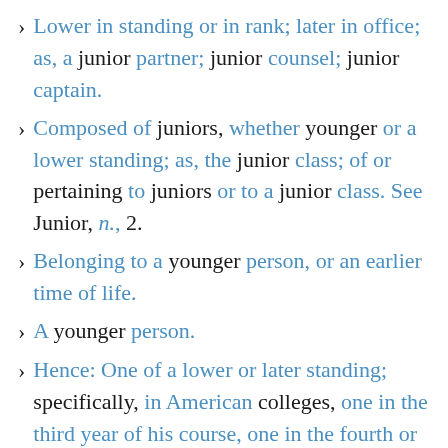Lower in standing or in rank; later in office; as, a junior partner; junior counsel; junior captain.
Composed of juniors, whether younger or a lower standing; as, the junior class; of or pertaining to juniors or to a junior class. See Junior, n., 2.
Belonging to a younger person, or an earlier time of life.
A younger person.
Hence: One of a lower or later standing; specifically, in American colleges, one in the third year of his course, one in the fourth or final year being designated a senior; in some seminaries, one in the first year, in others, one